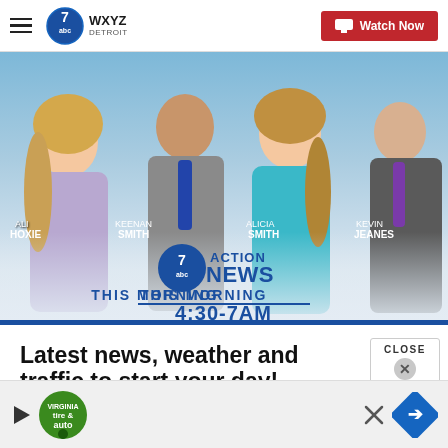WXYZ Detroit - Watch Now
[Figure (photo): Promotional photo of four news anchors: Ali Hoxie, Keenan Smith, Alicia Smith, and Kevin Jeanes for 7 Action News This Morning 4:30-7AM]
Latest news, weather and traffic to start your day!